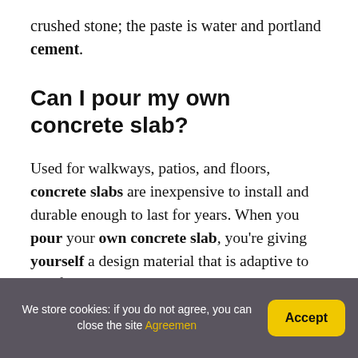crushed stone; the paste is water and portland cement.
Can I pour my own concrete slab?
Used for walkways, patios, and floors, concrete slabs are inexpensive to install and durable enough to last for years. When you pour your own concrete slab, you're giving yourself a design material that is adaptive to all of your needs.
We store cookies: if you do not agree, you can close the site Agreemen